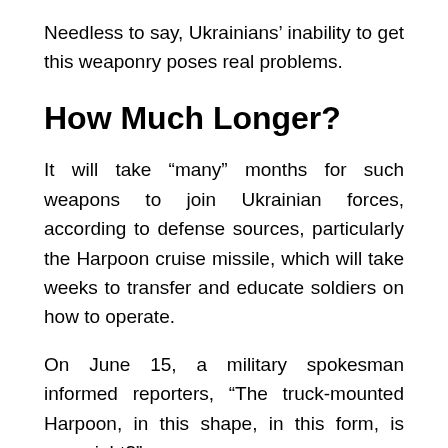Needless to say, Ukrainians' inability to get this weaponry poses real problems.
How Much Longer?
It will take “many” months for such weapons to join Ukrainian forces, according to defense sources, particularly the Harpoon cruise missile, which will take weeks to transfer and educate soldiers on how to operate.
On June 15, a military spokesman informed reporters, “The truck-mounted Harpoon, in this shape, in this form, is new, right?”